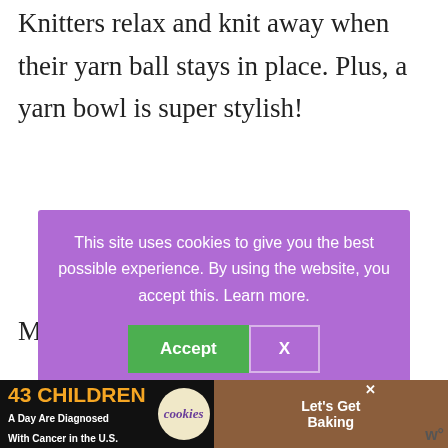Knitters relax and knit away when their yarn ball stays in place. Plus, a yarn bowl is super stylish!
[Figure (screenshot): Cookie consent modal with purple background. Text reads: 'This site uses cookies to give you the best possible experience. By using the website, you accept this. Learn more.' Two buttons: green 'Accept' button and outlined 'X' button.]
M
Best Budget Pick – Rosewood
Here are some functional, beautiful (sometimes
[Figure (other): Advertisement banner: '43 CHILDREN A Day Are Diagnosed With Cancer in the U.S.' with cookies for kids' cancer logo and 'Let's Get Baking' text on brown background. Close X button visible. 'W' logo at bottom right.]